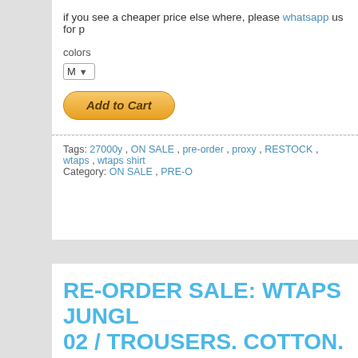if you see a cheaper price else where, please whatsapp us for price match
colors
M
Add to Cart
Tags: 27000y, ON SALE, pre-order, proxy, RESTOCK, wtaps, wtaps shirt   Category: ON SALE, PRE-O...
RE-ORDER SALE: WTAPS JUNGLE 02 / TROUSERS. COTTON. SATIN. 17AW
Posted by samplekickz on 18 Apr 2018